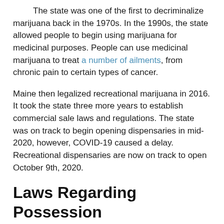The state was one of the first to decriminalize marijuana back in the 1970s. In the 1990s, the state allowed people to begin using marijuana for medicinal purposes. People can use medicinal marijuana to treat a number of ailments, from chronic pain to certain types of cancer.
Maine then legalized recreational marijuana in 2016. It took the state three more years to establish commercial sale laws and regulations. The state was on track to begin opening dispensaries in mid-2020, however, COVID-19 caused a delay. Recreational dispensaries are now on track to open October 9th, 2020.
Laws Regarding Possession
Although Maine has legalized recreational marijuana, there are possession laws that you need to be aware of.
Like alcohol, the state only allows adults 21 and older to possess